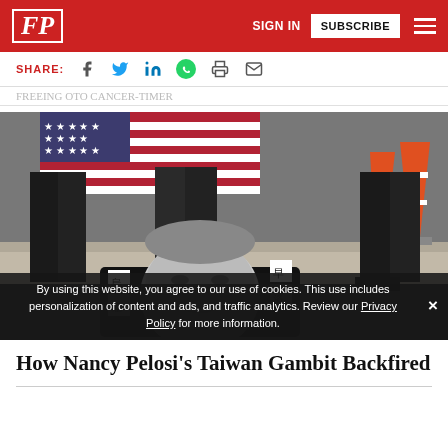FP | SIGN IN | SUBSCRIBE
SHARE:
FREEING UTO CANCER-TIMER
[Figure (photo): A person stepping on a black-and-white portrait of Nancy Pelosi on the ground, with Chinese characters written on bags, an American flag visible in the background, and traffic cones to the right.]
By using this website, you agree to our use of cookies. This use includes personalization of content and ads, and traffic analytics. Review our Privacy Policy for more information.
How Nancy Pelosi's Taiwan Gambit Backfired